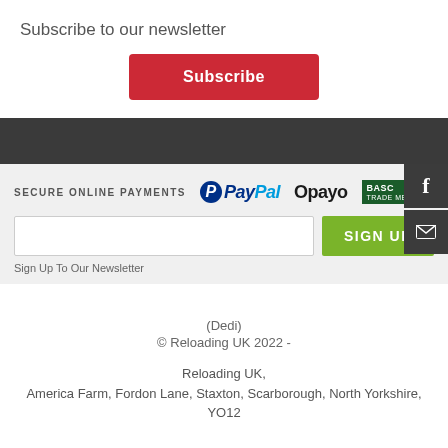Subscribe to our newsletter
Subscribe
SECURE ONLINE PAYMENTS  PayPal  Opayo  BASC TRADE ME...
SIGN UP
Sign Up To Our Newsletter
(Dedi)
© Reloading UK 2022 -

Reloading UK,
America Farm, Fordon Lane, Staxton, Scarborough, North Yorkshire, YO12